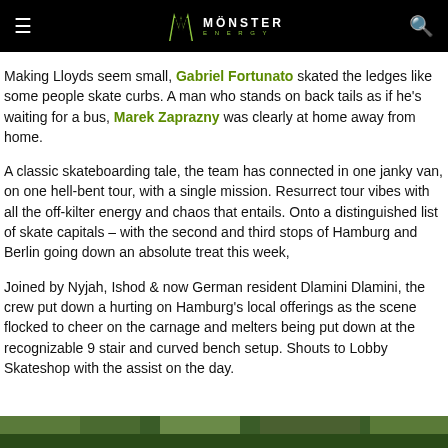Monster Energy - navigation header
Making Lloyds seem small, Gabriel Fortunato skated the ledges like some people skate curbs. A man who stands on back tails as if he's waiting for a bus, Marek Zaprazny was clearly at home away from home.
A classic skateboarding tale, the team has connected in one janky van, on one hell-bent tour, with a single mission. Resurrect tour vibes with all the off-kilter energy and chaos that entails. Onto a distinguished list of skate capitals – with the second and third stops of Hamburg and Berlin going down an absolute treat this week,
Joined by Nyjah, Ishod & now German resident Dlamini Dlamini, the crew put down a hurting on Hamburg's local offerings as the scene flocked to cheer on the carnage and melters being put down at the recognizable 9 stair and curved bench setup. Shouts to Lobby Skateshop with the assist on the day.
[Figure (photo): Bottom strip showing outdoor scene, partially visible]